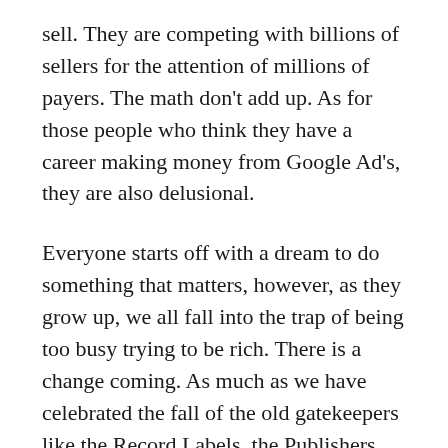sell. They are competing with billions of sellers for the attention of millions of payers. The math don't add up. As for those people who think they have a career making money from Google Ad's, they are also delusional.
Everyone starts off with a dream to do something that matters, however, as they grow up, we all fall into the trap of being too busy trying to be rich. There is a change coming. As much as we have celebrated the fall of the old gatekeepers like the Record Labels, the Publishers and the Movie Studio's, new